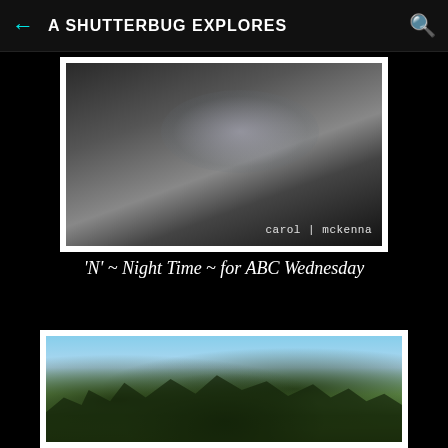A SHUTTERBUG EXPLORES
[Figure (photo): Dark night sky photograph with blurred clouds or smoke, watermark 'carol | mckenna' in lower right]
'N' ~ Night Time ~ for ABC Wednesday
[Figure (photo): Tree canopy photographed against blue sky at dusk or dawn, silhouettes of tree branches with leaves]